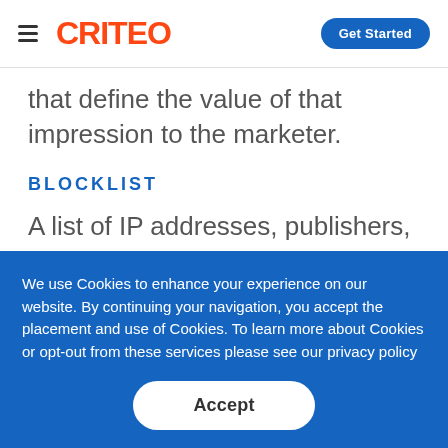CRITEO | Get Started
that define the value of that impression to the marketer.
BLOCKLIST
A list of IP addresses, publishers,
We use Cookies to enhance your experience on our website. By continuing your navigation, you accept the placement and use of Cookies. To learn more about Cookies or opt-out from these services please see our privacy policy
Accept